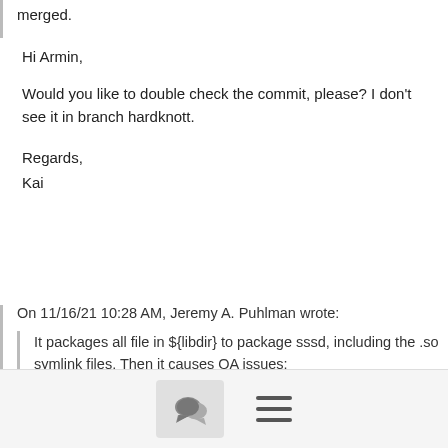merged.
Hi Armin,
Would you like to double check the commit, please? I don't see it in branch hardknott.
Regards,
Kai
On 11/16/21 10:28 AM, Jeremy A. Puhlman wrote:
It packages all file in ${libdir} to package sssd, including the .so
symlink files. Then it causes QA issues:

| ERROR: QA Issue: sssd rdepends on dbus-dev
[dev-deps]